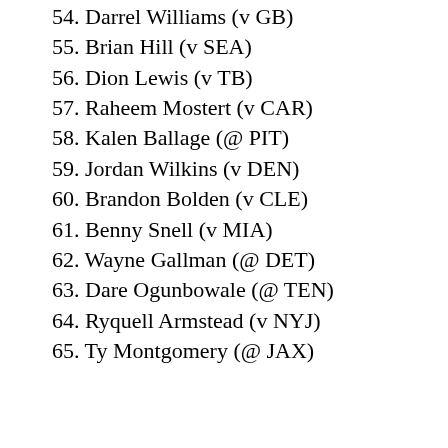54. Darrel Williams (v GB)
55. Brian Hill (v SEA)
56. Dion Lewis (v TB)
57. Raheem Mostert (v CAR)
58. Kalen Ballage (@ PIT)
59. Jordan Wilkins (v DEN)
60. Brandon Bolden (v CLE)
61. Benny Snell (v MIA)
62. Wayne Gallman (@ DET)
63. Dare Ogunbowale (@ TEN)
64. Ryquell Armstead (v NYJ)
65. Ty Montgomery (@ JAX)